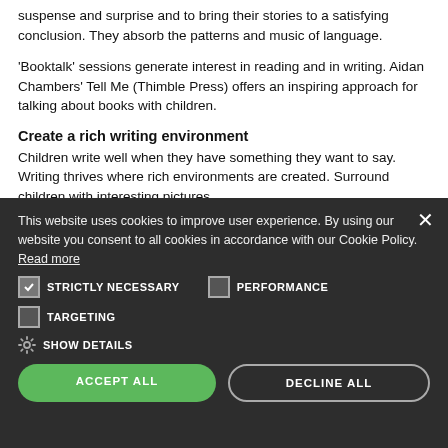suspense and surprise and to bring their stories to a satisfying conclusion. They absorb the patterns and music of language.
'Booktalk' sessions generate interest in reading and in writing. Aidan Chambers' Tell Me (Thimble Press) offers an inspiring approach for talking about books with children.
Create a rich writing environment
Children write well when they have something they want to say. Writing thrives where rich environments are created. Surround children with interesting pictures,
This website uses cookies to improve user experience. By using our website you consent to all cookies in accordance with our Cookie Policy. Read more
STRICTLY NECESSARY   PERFORMANCE
TARGETING
SHOW DETAILS
ACCEPT ALL   DECLINE ALL